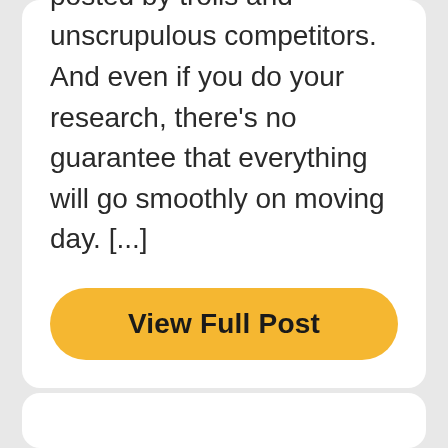ever face. Online reviews can help, but they don't always tell the whole story. They can be bought or posted by trolls and unscrupulous competitors. And even if you do your research, there's no guarantee that everything will go smoothly on moving day. [...]
View Full Post